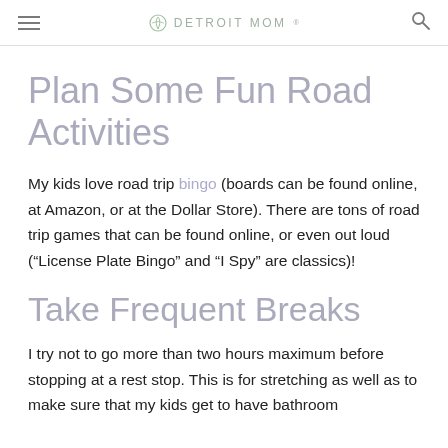DETROIT MOM
Plan Some Fun Road Activities
My kids love road trip bingo (boards can be found online, at Amazon, or at the Dollar Store). There are tons of road trip games that can be found online, or even out loud (“License Plate Bingo” and “I Spy” are classics)!
Take Frequent Breaks
I try not to go more than two hours maximum before stopping at a rest stop. This is for stretching as well as to make sure that my kids get to have bathroom